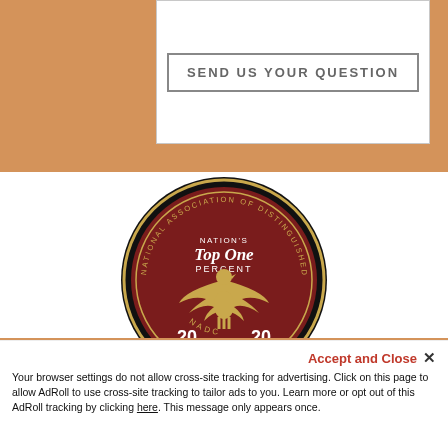[Figure (other): Send Us Your Question button inside white box on orange background]
[Figure (logo): National Association of Distinguished Counsel - Nation's Top One Percent - NADC 2020 badge/seal with eagle on dark red background]
ALL FAMILY LAW GROUP
Accept and Close ×
Your browser settings do not allow cross-site tracking for advertising. Click on this page to allow AdRoll to use cross-site tracking to tailor ads to you. Learn more or opt out of this AdRoll tracking by clicking here. This message only appears once.